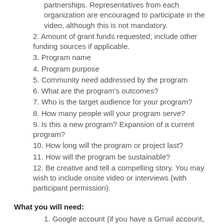partnerships. Representatives from each organization are encouraged to participate in the video, although this is not mandatory.
2. Amount of grant funds requested; include other funding sources if applicable.
3. Program name
4. Program purpose
5. Community need addressed by the program
6. What are the program's outcomes?
7. Who is the target audience for your program?
8. How many people will your program serve?
9. Is this a new program? Expansion of a current program?
10. How long will the program or project last?
11. How will the program be sustainable?
12. Be creative and tell a compelling story. You may wish to include onsite video or interviews (with participant permission).
What you will need:
1. Google account (if you have a Gmail account, then you already have a Google account, so you're set for that!)